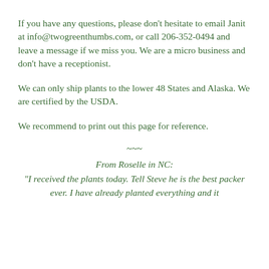If you have any questions, please don't hesitate to email Janit at info@twogreenthumbs.com, or call 206-352-0494 and leave a message if we miss you. We are a micro business and don't have a receptionist.
We can only ship plants to the lower 48 States and Alaska. We are certified by the USDA.
We recommend to print out this page for reference.
~~~
From Roselle in NC:
"I received the plants today. Tell Steve he is the best packer ever. I have already planted everything and it